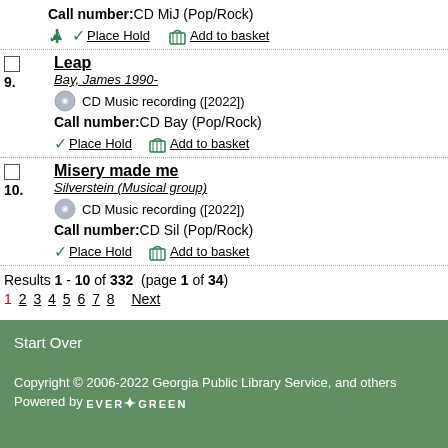Call number: CD MiJ (Pop/Rock)
Place Hold   Add to basket
9. Leap
Bay, James 1990-
CD Music recording ([2022])
Call number: CD Bay (Pop/Rock)
Place Hold   Add to basket
10. Misery made me
Silverstein (Musical group)
CD Music recording ([2022])
Call number: CD Sil (Pop/Rock)
Place Hold   Add to basket
Results 1 - 10 of 332  (page 1 of 34)
1 2 3 4 5 6 7 8   Next
Start Over
Copyright © 2006-2022 Georgia Public Library Service, and others
Powered by EVERGREEN